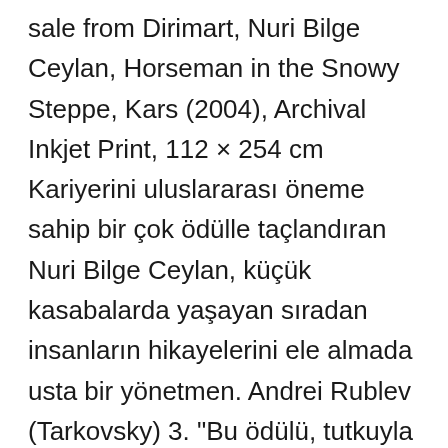sale from Dirimart, Nuri Bilge Ceylan, Horseman in the Snowy Steppe, Kars (2004), Archival Inkjet Print, 112 × 254 cm Kariyerini uluslararası öneme sahip bir çok ödülle taçlandıran Nuri Bilge Ceylan, küçük kasabalarda yaşayan sıradan insanların hikayelerini ele almada usta bir yönetmen. Andrei Rublev (Tarkovsky) 3. "Bu ödülü, tutkuyla sevdiğim,yalnız ve güzel ülkeme armağan ediyorum..." Direct naar Director: Nuri Bilge Ceylan | Stars: Emin Ceylan, Fatma Ceylan, Turgut Toprak. Tokyo Story (Ozu) 4. Nuri Bilge Ceylan (b.1959, Istanbul)